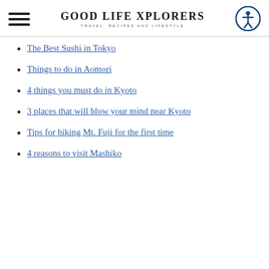GOOD LIFE XPLORERS — TRAVEL, RECIPES AND LIFESTYLE
The Best Sushi in Tokyo
Things to do in Aomori
4 things you must do in Kyoto
3 places that will blow your mind near Kyoto
Tips for hiking Mt. Fuji for the first time
4 reasons to visit Mashiko